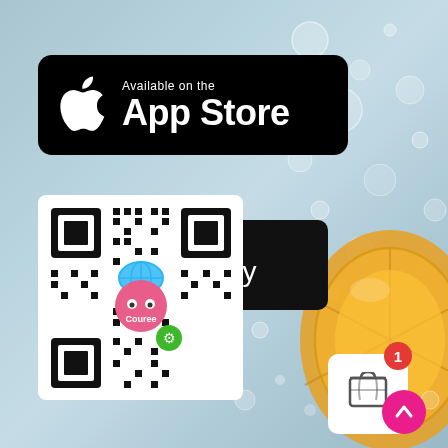[Figure (illustration): Background image of a lemon slice in water with bubbles on a light blue-grey background]
[Figure (logo): Apple App Store badge: black rounded rectangle with Apple logo and text 'Available on the App Store']
[Figure (logo): Google Play badge: dark rounded rectangle with Play Store icon and text 'GET IT ON Google play']
[Figure (other): QR code square with Couree app logo in center (pink face with globe hat and green mini-program icon)]
[Figure (infographic): Shopping cart icon in white card with red badge showing '1', and pink circular up-arrow button in bottom right]